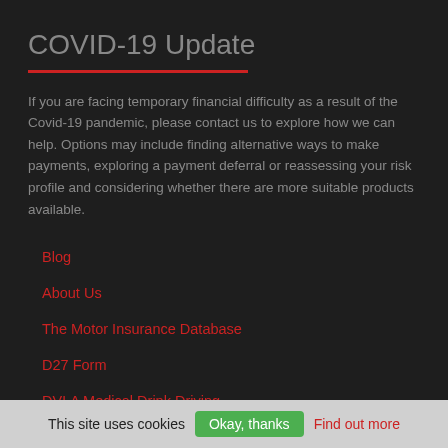COVID-19 Update
If you are facing temporary financial difficulty as a result of the Covid-19 pandemic, please contact us to explore how we can help. Options may include finding alternative ways to make payments, exploring a payment deferral or reassessing your risk profile and considering whether there are more suitable products available.
Blog
About Us
The Motor Insurance Database
D27 Form
DVLA Medical Drink Driving
Transfer from PMW
This site uses cookies  Okay, thanks  Find out more